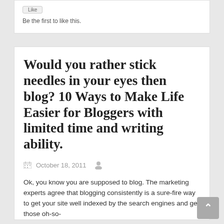Be the first to like this.
Would you rather stick needles in your eyes then blog? 10 Ways to Make Life Easier for Bloggers with limited time and writing ability.
October 18, 2011
Ok, you know you are supposed to blog. The marketing experts agree that blogging consistently is a sure-fire way to get your site well indexed by the search engines and get those oh-so-